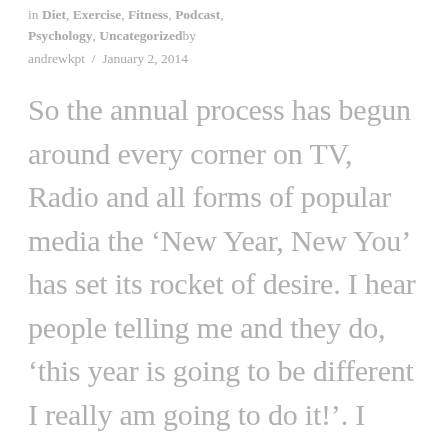in Diet, Exercise, Fitness, Podcast, Psychology, Uncategorizedby andrewkpt / January 2, 2014
So the annual process has begun around every corner on TV, Radio and all forms of popular media the 'New Year, New You' has set its rocket of desire. I hear people telling me and they do, 'this year is going to be different I really am going to do it!'. I truly believe that